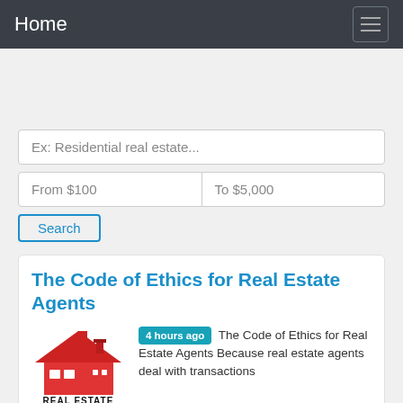Home
Ex: Residential real estate...
From $100 | To $5,000
Search
The Code of Ethics for Real Estate Agents
[Figure (logo): Red house roof logo with text REAL ESTATE below]
4 hours ago The Code of Ethics for Real Estate Agents Because real estate agents deal with transactions